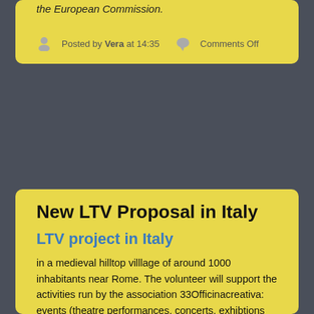the European Commission.
Posted by Vera at 14:35   Comments Off
New LTV Proposal in Italy
LTV project in Italy
in a medieval hilltop villlage of around 1000 inhabitants near Rome. The volunteer will support the activities run by the association 33Officinacreativa: events (theatre performances, concerts, exhibtions etc.), courses and cultural activities and initiatives (an international artist residency program, a summer arts festival, regular cinema screenings etc.)